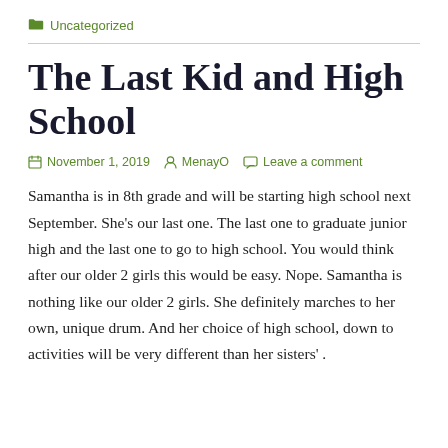Uncategorized
The Last Kid and High School
November 1, 2019   MenayO   Leave a comment
Samantha is in 8th grade and will be starting high school next September. She's our last one. The last one to graduate junior high and the last one to go to high school. You would think after our older 2 girls this would be easy. Nope. Samantha is nothing like our older 2 girls. She definitely marches to her own, unique drum. And her choice of high school, down to activities will be very different than her sisters' .